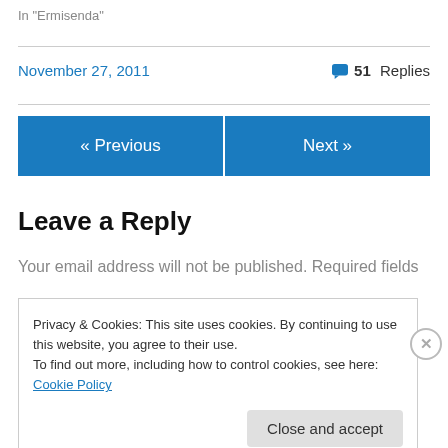In "Ermisenda"
November 27, 2011
51 Replies
« Previous
Next »
Leave a Reply
Your email address will not be published. Required fields
Privacy & Cookies: This site uses cookies. By continuing to use this website, you agree to their use.
To find out more, including how to control cookies, see here: Cookie Policy
Close and accept